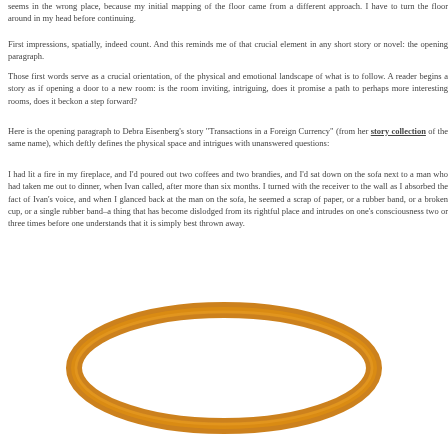seems in the wrong place, because my initial mapping of the floor came from a different approach. I have to turn the floor around in my head before continuing.
First impressions, spatially, indeed count. And this reminds me of that crucial element in any short story or novel: the opening paragraph.
Those first words serve as a crucial orientation, of the physical and emotional landscape of what is to follow. A reader begins a story as if opening a door to a new room: is the room inviting, intriguing, does it promise a path to perhaps more interesting rooms, does it beckon a step forward?
Here is the opening paragraph to Debra Eisenberg's story "Transactions in a Foreign Currency" (from her story collection of the same name), which deftly defines the physical space and intrigues with unanswered questions:
I had lit a fire in my fireplace, and I'd poured out two coffees and two brandies, and I'd sat down on the sofa next to a man who had taken me out to dinner, when Ivan called, after more than six months. I turned with the receiver to the wall as I absorbed the fact of Ivan's voice, and when I glanced back at the man on the sofa, he seemed a scrap of paper, or a rubber band, or a broken cup, or a single rubber band–a thing that has become dislodged from its rightful place and intrudes on one's consciousness two or three times before one understands that it is simply best thrown away.
[Figure (photo): A rubber band / elastic band photographed on a white background, orange/amber colored, oval shaped, viewed from above.]